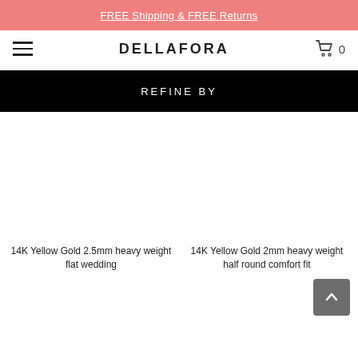FREE Shipping & FREE Returns
DELLAFORA
REFINE BY
14K Yellow Gold 2.5mm heavy weight flat wedding
14K Yellow Gold 2mm heavy weight half round comfort fit